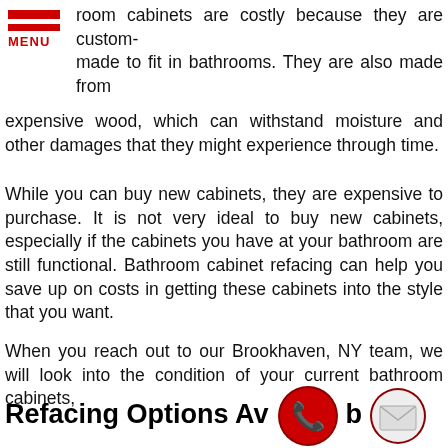MENU
room cabinets are costly because they are custom-made to fit in bathrooms. They are also made from expensive wood, which can withstand moisture and other damages that they might experience through time.
While you can buy new cabinets, they are expensive to purchase. It is not very ideal to buy new cabinets, especially if the cabinets you have at your bathroom are still functional. Bathroom cabinet refacing can help you save up on costs in getting these cabinets into the style that you want.
When you reach out to our Brookhaven, NY team, we will look into the condition of your current bathroom cabinets, see what can be done to improve them, and give them the look that you want. We will fix all the damages they have, refresh their color, and apply a lasting finish that improves their durability.
Refacing Options Avab